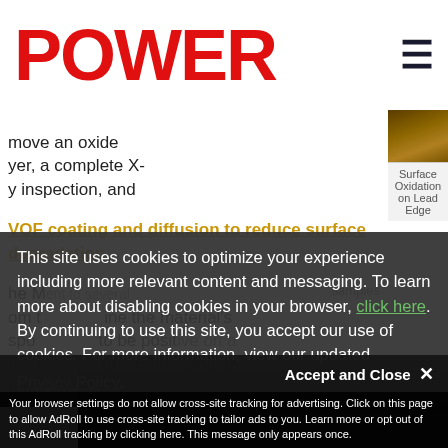POWER
[Figure (photo): Surface oxidation photo on lead edge of turbine blade, dark brown/yellow tones]
Surface Oxidation on Lead Edge
move an oxide yer, a complete X- y inspection, and VOF coating and diffusion to reduce surface degradation. he M ent to several samples om t ine the material's spo to be positive on a ree b to a more cuboidal rpho ponent creep life.
This site uses cookies to optimize your experience including more relevant content and messaging. To learn more about disabling cookies in your browser, click here. By continuing to use this site, you accept our use of cookies. For more information, view our updated Privacy Policy.
Accept and Close ✕
Your browser settings do not allow cross-site tracking for advertising. Click on this page to allow AdRoll to use cross-site tracking to tailor ads to you. Learn more or opt out of this AdRoll tracking by clicking here. This message only appears once.